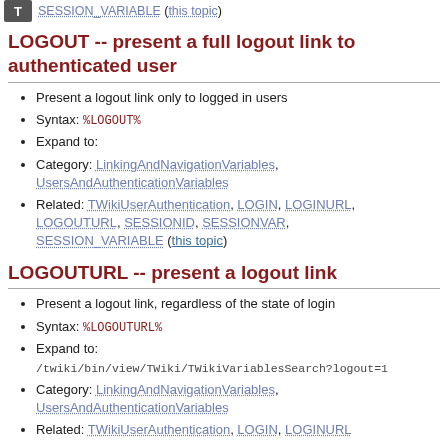SESSION_VARIABLE (this topic)
LOGOUT -- present a full logout link to authenticated user
Present a logout link only to logged in users
Syntax: %LOGOUT%
Expand to:
Category: LinkingAndNavigationVariables, UsersAndAuthenticationVariables
Related: TWikiUserAuthentication, LOGIN, LOGINURL, LOGOUTURL, SESSIONID, SESSIONVAR, SESSION_VARIABLE (this topic)
LOGOUTURL -- present a logout link
Present a logout link, regardless of the state of login
Syntax: %LOGOUTURL%
Expand to: /twiki/bin/view/TWiki/TWikiVariablesSearch?logout=1
Category: LinkingAndNavigationVariables, UsersAndAuthenticationVariables
Related: TWikiUserAuthentication, LOGIN, LOGINURL